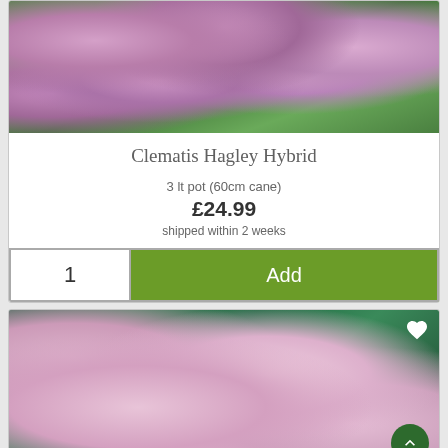[Figure (photo): Pink clematis flowers (Hagley Hybrid) with large petals against green foliage background]
Clematis Hagley Hybrid
3 lt pot (60cm cane)
£24.99
shipped within 2 weeks
[Figure (photo): Small pink star-shaped clematis flowers in mass bloom against dark green foliage, with a white heart icon and a dark green scroll-to-top button]